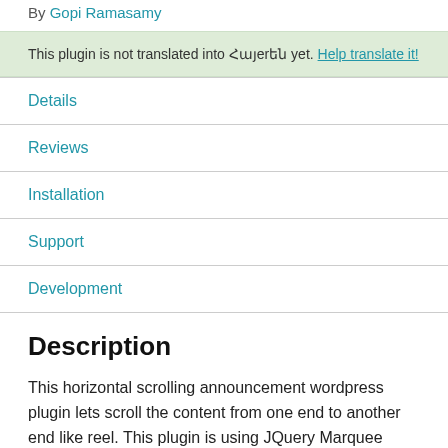By Gopi Ramasamy
This plugin is not translated into Հայerեն yet. Help translate it!
Details
Reviews
Installation
Support
Development
Description
This horizontal scrolling announcement wordpress plugin lets scroll the content from one end to another end like reel. This plugin is using JQuery Marquee script for scrolling. This is the simple way to create scrolling